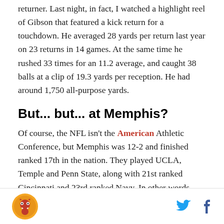returner. Last night, in fact, I watched a highlight reel of Gibson that featured a kick return for a touchdown. He averaged 28 yards per return last year on 23 returns in 14 games. At the same time he rushed 33 times for an 11.2 average, and caught 38 balls at a clip of 19.3 yards per reception. He had around 1,750 all-purpose yards.
But... but... at Memphis?
Of course, the NFL isn't the American Athletic Conference, but Memphis was 12-2 and finished ranked 17th in the nation. They played UCLA, Temple and Penn State, along with 21st ranked Cincinnati and 23rd ranked Navy. In other words, Gibson faced some
[logo] [twitter] [facebook]